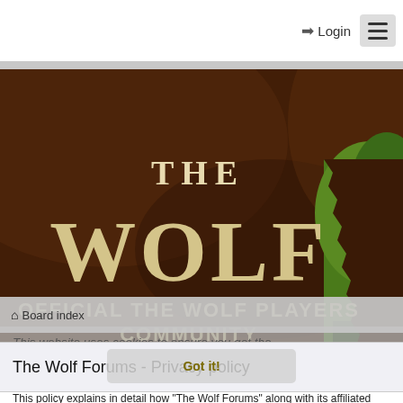Login
[Figure (illustration): The Wolf game banner showing 'THE WOLF' title text and 'OFFICIAL THE WOLF PLAYERS COMMUNITY' subtitle on a dark brown textured background with wolf/nature imagery on the right side.]
This website uses cookies to ensure you get the best experience on our website. Learn more
Got it!
Board index
The Wolf Forums - Privacy policy
This policy explains in detail how "The Wolf Forums" along with its affiliated